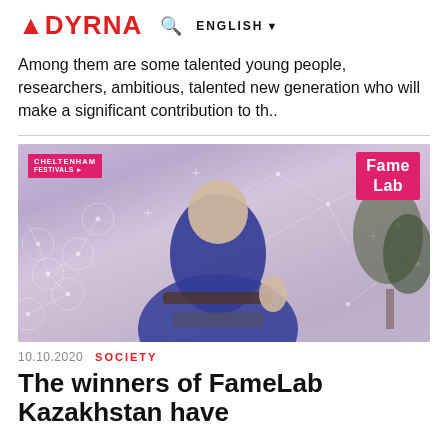ADYRNA  ENGLISH  ☰
Among them are some talented young people, researchers, ambitious, talented new generation who will make a significant contribution to th..
[Figure (photo): A young man in a blue shirt sitting in a chair giving a thumbs up, with a Cheltenham Festivals badge in the top left and a FameLab logo in the top right, against a purple/pink background with molecular network overlay graphics.]
10.10.2020   SOCIETY
The winners of FameLab Kazakhstan have